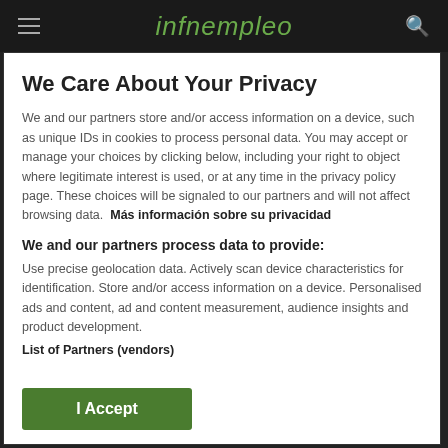infnempleo
We Care About Your Privacy
We and our partners store and/or access information on a device, such as unique IDs in cookies to process personal data. You may accept or manage your choices by clicking below, including your right to object where legitimate interest is used, or at any time in the privacy policy page. These choices will be signaled to our partners and will not affect browsing data. Más información sobre su privacidad
We and our partners process data to provide:
Use precise geolocation data. Actively scan device characteristics for identification. Store and/or access information on a device. Personalised ads and content, ad and content measurement, audience insights and product development.
List of Partners (vendors)